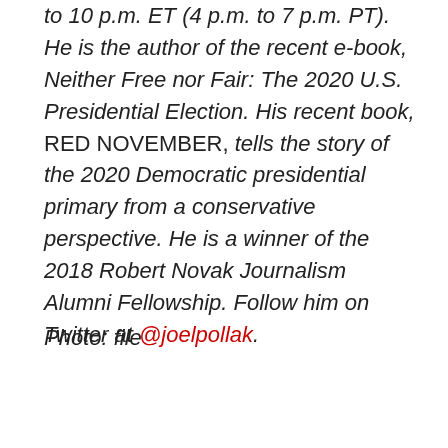to 10 p.m. ET (4 p.m. to 7 p.m. PT). He is the author of the recent e-book, Neither Free nor Fair: The 2020 U.S. Presidential Election. His recent book, RED NOVEMBER, tells the story of the 2020 Democratic presidential primary from a conservative perspective. He is a winner of the 2018 Robert Novak Journalism Alumni Fellowship. Follow him on Twitter at @joelpollak.
Photo: file